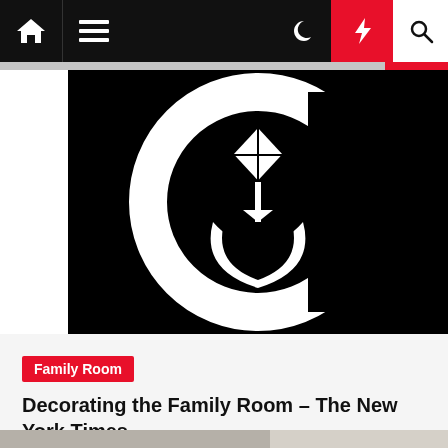Navigation bar with home, menu, moon, lightning, and search icons
[Figure (logo): Black background with a large stylized circular logo mark in black and white — featuring a diamond/gem shape at top and a crescent moon shape at bottom forming a circular emblem]
Family Room
Decorating the Family Room – The New York Times
2 years ago
[Figure (photo): Photo showing a bedroom scene with a grey upholstered headboard, decorative pillows, white lamp, and a window with curtains visible on the right side]